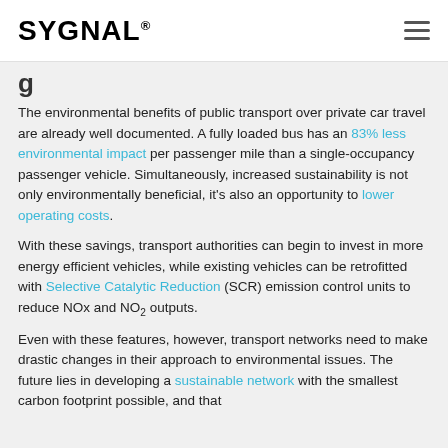SYGNAL
The environmental benefits of public transport over private car travel are already well documented. A fully loaded bus has an 83% less environmental impact per passenger mile than a single-occupancy passenger vehicle. Simultaneously, increased sustainability is not only environmentally beneficial, it's also an opportunity to lower operating costs.
With these savings, transport authorities can begin to invest in more energy efficient vehicles, while existing vehicles can be retrofitted with Selective Catalytic Reduction (SCR) emission control units to reduce NOx and NO₂ outputs.
Even with these features, however, transport networks need to make drastic changes in their approach to environmental issues. The future lies in developing a sustainable network with the smallest carbon footprint possible, and that